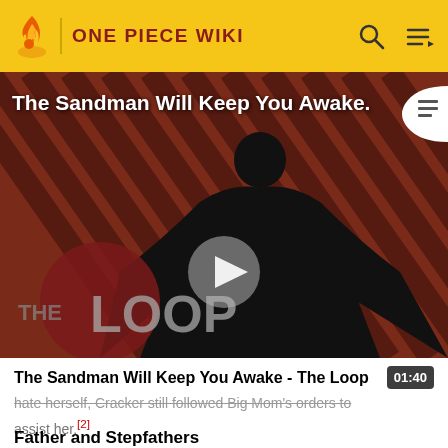ONE PIECE WIKI
[Figure (screenshot): Video thumbnail for 'The Sandman Will Keep You Awake - The Loop' showing a dark-robed figure against a diagonal striped red/dark background with 'THE LOOP' text overlay and a play button in the center]
The Sandman Will Keep You Awake - The Loop  01:40
hate herself, Cracker still followed Big Mom's orders to assist her.[2]
Father and Stepfathers